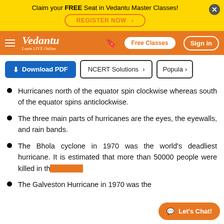Claim your FREE Seat in Vedantu Master Classes! REGISTER NOW
Vedantu — Learn LIVE Online | Free Classes | Sign in
Download PDF | NCERT Solutions | Popular
Hurricanes north of the equator spin clockwise whereas south of the equator spins anticlockwise.
The three main parts of hurricanes are the eyes, the eyewalls, and rain bands.
The Bhola cyclone in 1970 was the world's deadliest hurricane. It is estimated that more than 50000 people were killed in that cyclone.
The Galveston Hurricane in 1970 was the